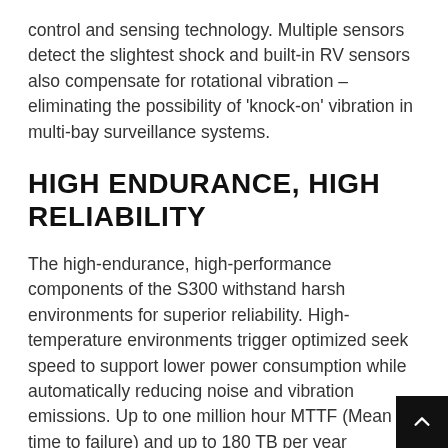control and sensing technology. Multiple sensors detect the slightest shock and built-in RV sensors also compensate for rotational vibration – eliminating the possibility of 'knock-on' vibration in multi-bay surveillance systems.
HIGH ENDURANCE, HIGH RELIABILITY
The high-endurance, high-performance components of the S300 withstand harsh environments for superior reliability. High-temperature environments trigger optimized seek speed to support lower power consumption while automatically reducing noise and vibration emissions. Up to one million hour MTTF (Mean time to failure) and up to 180 TB per year workload ra provide peace of mind when operating security cam